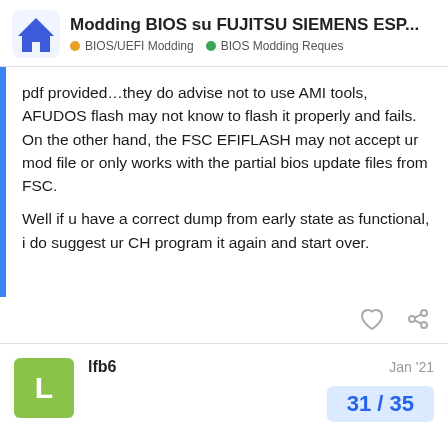Modding BIOS su FUJITSU SIEMENS ESP... | BIOS/UEFI Modding | BIOS Modding Reques
pdf provided…they do advise not to use AMI tools, AFUDOS flash may not know to flash it properly and fails.
On the other hand, the FSC EFIFLASH may not accept ur mod file or only works with the partial bios update files from FSC.

Well if u have a correct dump from early state as functional, i do suggest ur CH program it again and start over.
lfb6   Jan '21   31 / 35